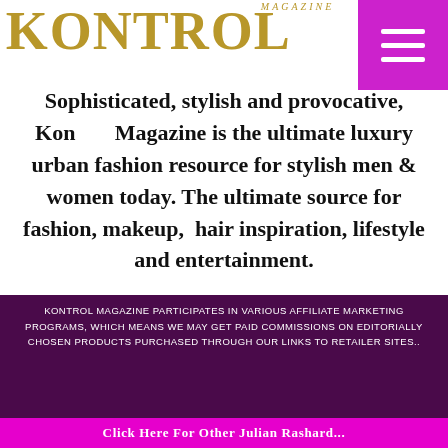KONTROL MAGAZINE
[Figure (other): Hamburger menu button in magenta/purple square, top-right corner]
Sophisticated, stylish and provocative, Kontrol Magazine is the ultimate luxury urban fashion resource for stylish men & women today. The ultimate source for fashion, makeup, hair inspiration, lifestyle and entertainment.
KONTROL MAGAZINE PARTICIPATES IN VARIOUS AFFILIATE MARKETING PROGRAMS, WHICH MEANS WE MAY GET PAID COMMISSIONS ON EDITORIALLY CHOSEN PRODUCTS PURCHASED THROUGH OUR LINKS TO RETAILER SITES..
Click Here for Other Julian Rashard...